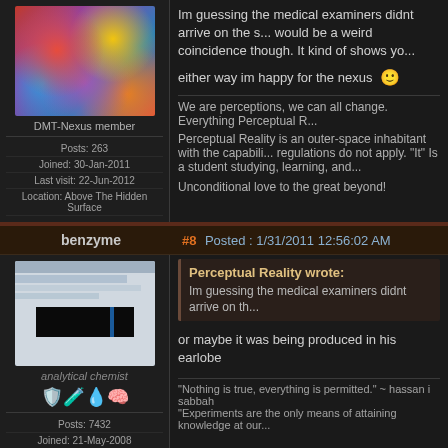[Figure (screenshot): Abstract colorful psychedelic avatar image]
DMT-Nexus member
Posts: 263
Joined: 30-Jan-2011
Last visit: 22-Jun-2012
Location: Above The Hidden Surface
Im guessing the medical examiners didnt arrive on the s... would be a weird coincidence though. It kind of shows yo...
either way im happy for the nexus
We are perceptions, we can all change. Everything Perceptual R...
Perceptual Reality is an outer-space inhabitant with the capabili... regulations do not apply. "It" Is a student studying, learning, and...
Unconditional love to the great beyond!
benzyme
#8 Posted : 1/31/2011 12:56:02 AM
[Figure (screenshot): Screenshot of analytical software/program with dark background]
analytical chemist
Posts: 7432
Joined: 21-May-2008
Last visit: 28-Aug-2022
Location: the lab
Perceptual Reality wrote:
Im guessing the medical examiners didnt arrive on th...
or maybe it was being produced in his earlobe
"Nothing is true, everything is permitted." ~ hassan i sabbah
"Experiments are the only means of attaining knowledge at our...